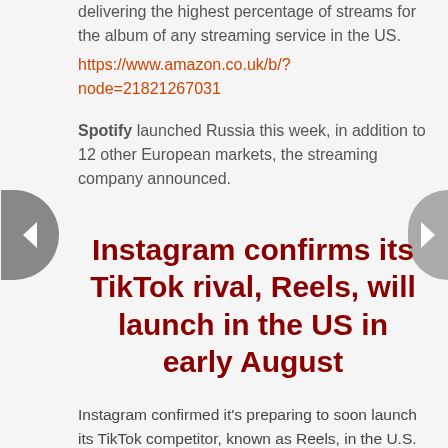delivering the highest percentage of streams for the album of any streaming service in the US.
https://www.amazon.co.uk/b/?node=21821267031
Spotify launched Russia this week, in addition to 12 other European markets, the streaming company announced.
Instagram confirms its TikTok rival, Reels, will launch in the US in early August
Instagram confirmed it's preparing to soon launch its TikTok competitor, known as Reels, in the U.S. The company